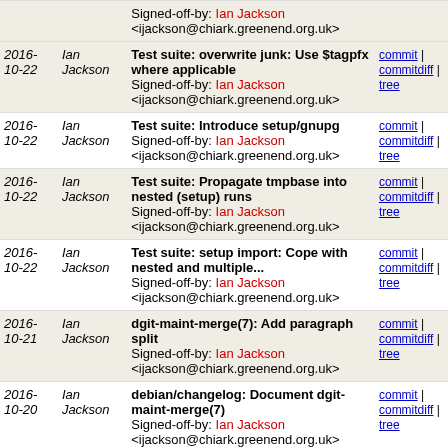| Date | Author | Commit Message | Links |
| --- | --- | --- | --- |
|  |  | Signed-off-by: Ian Jackson <ijackson@chiark.greenend.org.uk> |  |
| 2016-10-22 | Ian Jackson | Test suite: overwrite junk: Use $tagpfx where applicable
Signed-off-by: Ian Jackson <ijackson@chiark.greenend.org.uk> | commit | commitdiff | tree |
| 2016-10-22 | Ian Jackson | Test suite: Introduce setup/gnupg
Signed-off-by: Ian Jackson <ijackson@chiark.greenend.org.uk> | commit | commitdiff | tree |
| 2016-10-22 | Ian Jackson | Test suite: Propagate tmpbase into nested (setup) runs
Signed-off-by: Ian Jackson <ijackson@chiark.greenend.org.uk> | commit | commitdiff | tree |
| 2016-10-22 | Ian Jackson | Test suite: setup import: Cope with nested and multiple...
Signed-off-by: Ian Jackson <ijackson@chiark.greenend.org.uk> | commit | commitdiff | tree |
| 2016-10-21 | Ian Jackson | dgit-maint-merge(7): Add paragraph split
Signed-off-by: Ian Jackson <ijackson@chiark.greenend.org.uk> | commit | commitdiff | tree |
| 2016-10-20 | Ian Jackson | debian/changelog: Document dgit-maint-merge(7)
Signed-off-by: Ian Jackson <ijackson@chiark.greenend.org.uk> | commit | commitdiff | tree |
| 2016-10-20 | Ian Jackson | dgit-maint-merge(7): Fiercer instructions about legally...
Signed-off-by: Ian Jackson | commit | commitdiff | tree |